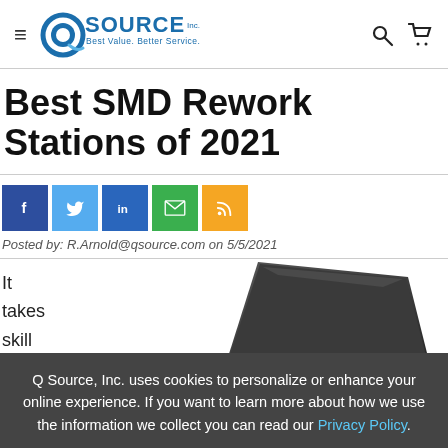QSource Inc. — Best Value. Better Service.
Best SMD Rework Stations of 2021
[Figure (other): Social share buttons: Facebook, Twitter, LinkedIn, Email, RSS]
Posted by: R.Arnold@qsource.com on 5/5/2021
It takes skill
[Figure (photo): Partial image of a dark SMD rework station device]
Q Source, Inc. uses cookies to personalize or enhance your online experience. If you want to learn more about how we use the information we collect you can read our Privacy Policy.